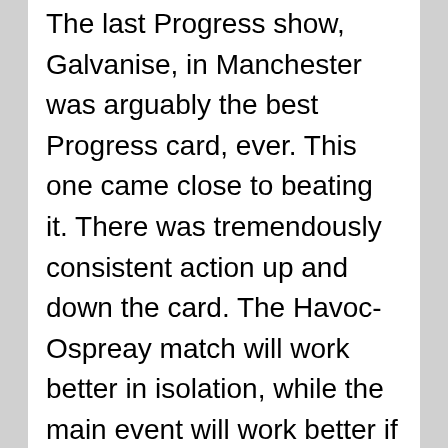The last Progress show, Galvanise, in Manchester was arguably the best Progress card, ever. This one came close to beating it. There was tremendously consistent action up and down the card. The Havoc-Ospreay match will work better in isolation, while the main event will work better if you know the storylines and backgrounds. Based on your viewing experience you may get more/less out of those two matches. However the best pure wrestling on the card; Riddle vs. WALTER and Haskins vs. Dieter are great in anyone's money. World calibre wrestling from top pros. Another highly